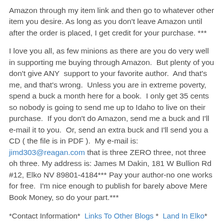Amazon through my item link and then go to whatever other item you desire. As long as you don't leave Amazon until after the order is placed, I get credit for your purchase. ***
I love you all, as few minions as there are you do very well in supporting me buying through Amazon.  But plenty of you don't give ANY  support to your favorite author.  And that's me, and that's wrong.  Unless you are in extreme poverty, spend a buck a month here for a book.  I only get 35 cents so nobody is going to send me up to Idaho to live on their purchase.  If you don't do Amazon, send me a buck and I'll e-mail it to you.  Or, send an extra buck and I'll send you a CD ( the file is in PDF ).  My e-mail is: jimd303@reagan.com that is three ZERO three, not three oh three. My address is: James M Dakin, 181 W Bullion Rd #12, Elko NV 89801-4184*** Pay your author-no one works for free.  I'm nice enough to publish for barely above Mere Book Money, so do your part.***
*Contact Information*  Links To Other Blogs *  Land In Elko*  Lord Bison* my bio & biblio*  my web site is www.bisonprepper.com  *wal-mart wheat*Link To All My